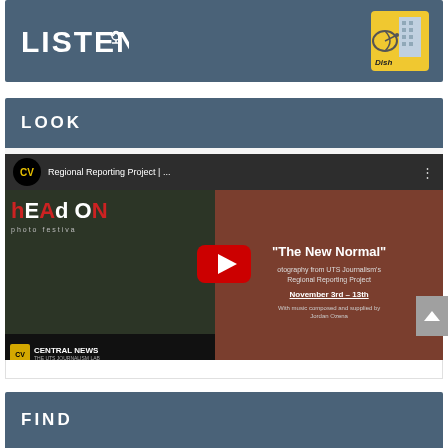[Figure (screenshot): LISTEN banner with podcast/dish icon on dark blue-grey background]
LOOK
[Figure (screenshot): YouTube video thumbnail for Regional Reporting Project | 'The New Normal' — Head On Photo Festival, Central News UTS Journalism Lab, November 3rd-13th, with music by Jordan Ozena. Shows YouTube play button overlay.]
FIND